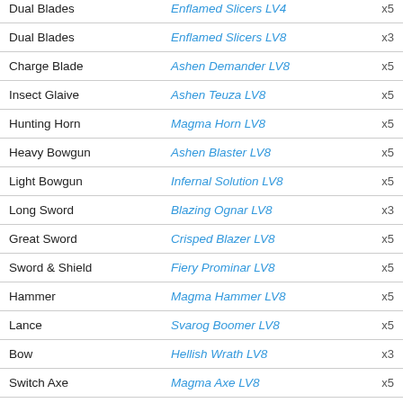| Weapon Type | Weapon Name | Qty |
| --- | --- | --- |
| Dual Blades | Enflamed Slicers LV4 | x5 |
| Dual Blades | Enflamed Slicers LV8 | x3 |
| Charge Blade | Ashen Demander LV8 | x5 |
| Insect Glaive | Ashen Teuza LV8 | x5 |
| Hunting Horn | Magma Horn LV8 | x5 |
| Heavy Bowgun | Ashen Blaster LV8 | x5 |
| Light Bowgun | Infernal Solution LV8 | x5 |
| Long Sword | Blazing Ognar LV8 | x3 |
| Great Sword | Crisped Blazer LV8 | x5 |
| Sword & Shield | Fiery Prominar LV8 | x5 |
| Hammer | Magma Hammer LV8 | x5 |
| Lance | Svarog Boomer LV8 | x5 |
| Bow | Hellish Wrath LV8 | x3 |
| Switch Axe | Magma Axe LV8 | x5 |
| Gunlance | Explosive Kabeira LV8 | x5 |